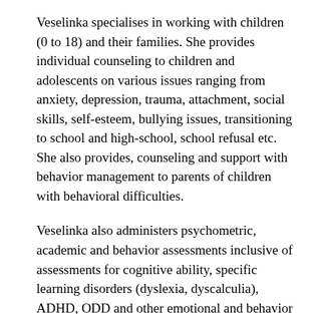Veselinka specialises in working with children (0 to 18) and their families. She provides individual counseling to children and adolescents on various issues ranging from anxiety, depression, trauma, attachment, social skills, self-esteem, bullying issues, transitioning to school and high-school, school refusal etc.  She also provides, counseling and support with behavior management to parents of children with behavioral difficulties.
Veselinka also administers psychometric, academic and behavior assessments inclusive of assessments for cognitive ability, specific learning disorders (dyslexia, dyscalculia), ADHD, ODD and other emotional and behavior difficulties.
Veselinka's therapeutic approach includes Cognitive Behaviour Therapy, Acceptance and